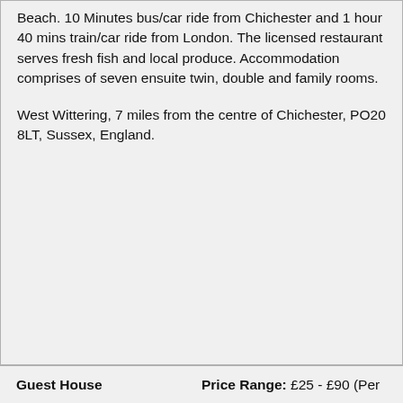Beach. 10 Minutes bus/car ride from Chichester and 1 hour 40 mins train/car ride from London. The licensed restaurant serves fresh fish and local produce. Accommodation comprises of seven ensuite twin, double and family rooms.
West Wittering, 7 miles from the centre of Chichester, PO20 8LT, Sussex, England.
Guest House    Price Range: £25 - £90 (Per